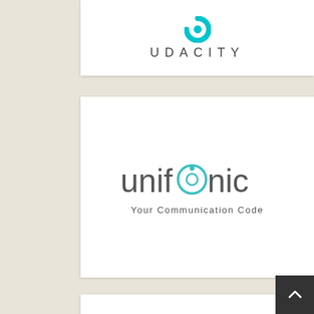[Figure (logo): Udacity logo: blue semicircle icon above spaced letters 'UDACITY' in gray]
[Figure (logo): Unifonic logo: stylized word 'unifonic' in gray with teal circular icon replacing the letter 'o', tagline 'Your Communication Code' below]
[Figure (logo): Partial logo at bottom of page, decorative blue/teal illustrated text marks]